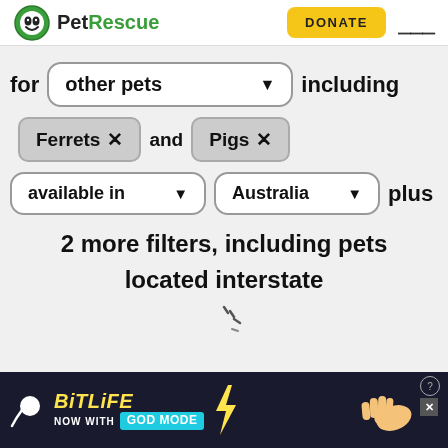[Figure (screenshot): PetRescue website header with logo, DONATE button, and hamburger menu]
for other pets ▼ including
Ferrets × and Pigs ×
available in ▼ Australia ▼ plus
2 more filters, including pets located interstate
[Figure (screenshot): BitLife advertisement banner: BitLife NOW WITH GOD MODE with sperm logo and hand pointing]